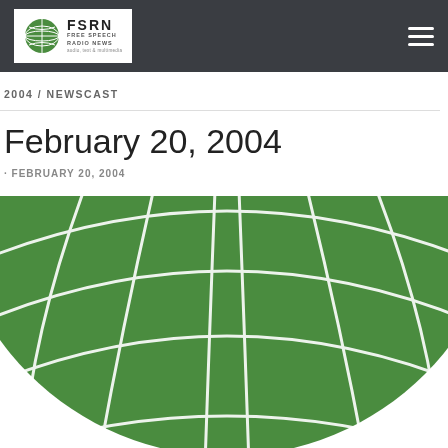FSRN FREE SPEECH RADIO NEWS
2004 / NEWSCAST
February 20, 2004
· FEBRUARY 20, 2004
[Figure (logo): FSRN green globe logo, large cropped view showing the lower portion of a green globe with white latitude/longitude grid lines]